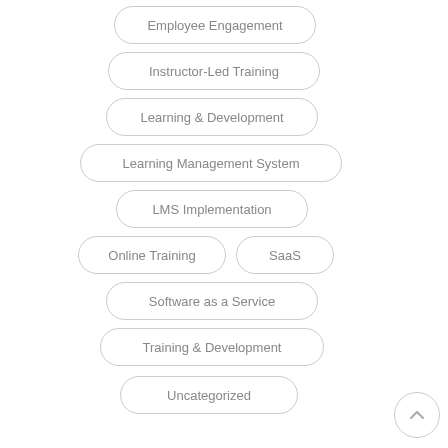Employee Engagement
Instructor-Led Training
Learning & Development
Learning Management System
LMS Implementation
Online Training
SaaS
Software as a Service
Training & Development
Uncategorized